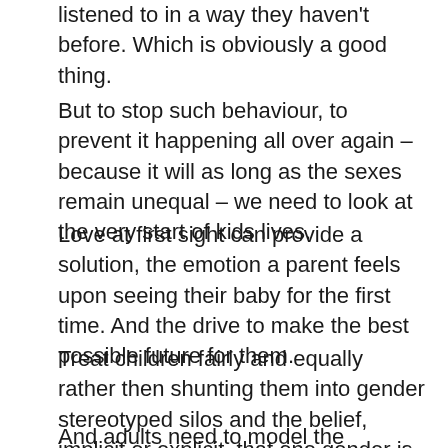listened to in a way they haven't before. Which is obviously a good thing.
But to stop such behaviour, to prevent it happening all over again – because it will as long as the sexes remain unequal – we need to look at the very start of kids lives.
Love at first sight can provide a solution, the emotion a parent feels upon seeing their baby for the first time. And the drive to make the best possible future for them.
Treat children fairly and equally rather then shunting them into gender stereotyped silos and the belief, implicit or explicit, that one gender is better than the other and therefore entitled to more.
And adults need to model the alternative, share the